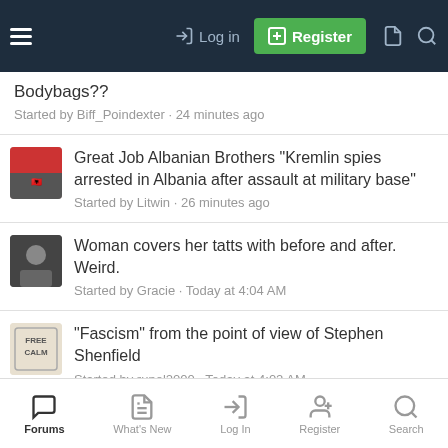Log in | Register
Bodybags?? Started by Biff_Poindexter · 24 minutes ago
Great Job Albanian Brothers "Kremlin spies arrested in Albania after assault at military base" Started by Litwin · 26 minutes ago
Woman covers her tatts with before and after. Weird. Started by Gracie · Today at 4:04 AM
"Fascism" from the point of view of Stephen Shenfield Started by rupol2000 · Today at 4:02 AM
You want to tax the wealthy? Started by bigrebnc1775 · Today at 3:12 AM
Forums | What's New | Log In | Register | Search